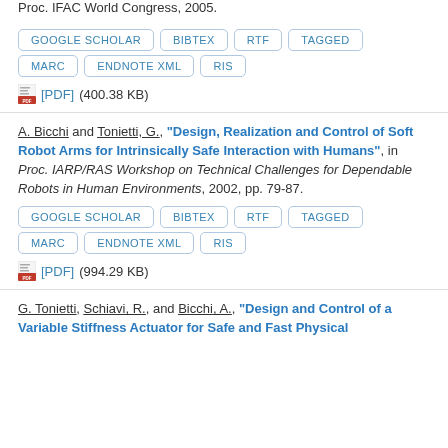Proc. IFAC World Congress, 2005.
GOOGLE SCHOLAR | BIBTEX | RTF | TAGGED | MARC | ENDNOTE XML | RIS
[PDF] (400.38 KB)
A. Bicchi and Tonietti, G., "Design, Realization and Control of Soft Robot Arms for Intrinsically Safe Interaction with Humans", in Proc. IARP/RAS Workshop on Technical Challenges for Dependable Robots in Human Environments, 2002, pp. 79-87.
GOOGLE SCHOLAR | BIBTEX | RTF | TAGGED | MARC | ENDNOTE XML | RIS
[PDF] (994.29 KB)
G. Tonietti, Schiavi, R., and Bicchi, A., "Design and Control of a Variable Stiffness Actuator for Safe and Fast Physical